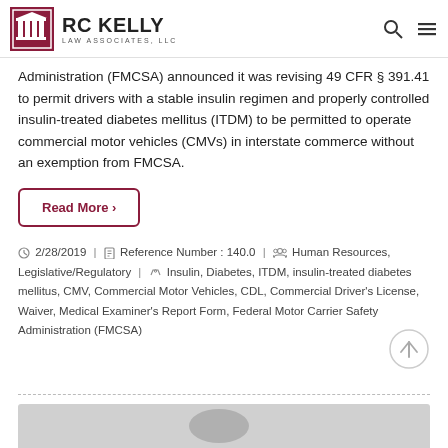RC Kelly Law Associates, LLC
Administration (FMCSA) announced it was revising 49 CFR § 391.41 to permit drivers with a stable insulin regimen and properly controlled insulin-treated diabetes mellitus (ITDM) to be permitted to operate commercial motor vehicles (CMVs) in interstate commerce without an exemption from FMCSA.
Read More ›
2/28/2019 | Reference Number : 140.0 | Human Resources, Legislative/Regulatory | Insulin, Diabetes, ITDM, insulin-treated diabetes mellitus, CMV, Commercial Motor Vehicles, CDL, Commercial Driver's License, Waiver, Medical Examiner's Report Form, Federal Motor Carrier Safety Administration (FMCSA)